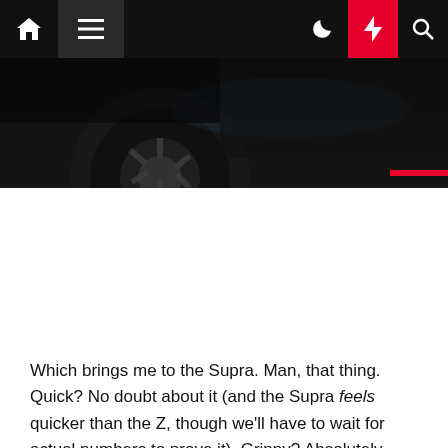Navigation bar with home, menu, moon, lightning, and search icons
[Figure (photo): Close-up dark photo of a car wheel/tire on a dark surface, partially visible at the bottom]
Which brings me to the Supra. Man, that thing. Quick? No doubt about it (and the Supra feels quicker than the Z, though we'll have to wait for actual numbers to prove it). Grippy? Absolutely. The